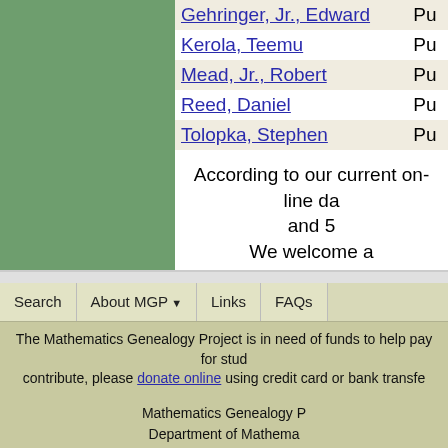[Figure (other): Green rectangular panel on the left side of the page]
| Name | Type |
| --- | --- |
| Gehringer, Jr., Edward | Pu... |
| Kerola, Teemu | Pu... |
| Mead, Jr., Robert | Pu... |
| Reed, Daniel | Pu... |
| Tolopka, Stephen | Pu... |
According to our current on-line da... and 5...
We welcome a...
If you have additional information or corre... update form. To submit students of this ma... mathematician's MG...
Search   About MGP   Links   FAQs
The Mathematics Genealogy Project is in need of funds to help pay for stud... contribute, please donate online using credit card or bank transfe...
Mathematics Genealogy P...
Department of Mathema...
North Dakota State Unive...
P. O. Box 6050
Fargo, North Dakota 5810...